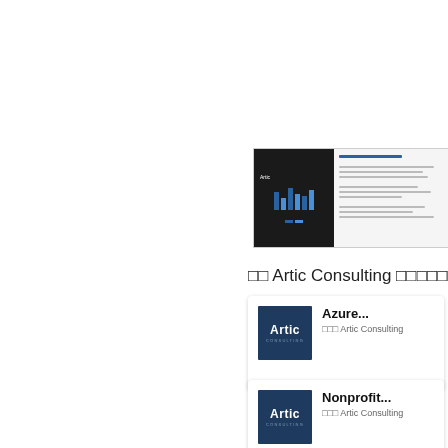[Figure (screenshot): Small thumbnail preview of an Artic Consulting document/presentation, showing a dark left panel with bar charts and a light right panel with text lines.]
□□ Artic Consulting □□□□□□□
[Figure (logo): Artic Consulting logo card showing 'Azure...' title and '□□□ Artic Consulting' subtitle]
[Figure (logo): Artic Consulting logo card showing 'Nonprofit...' title and '□□□ Artic Consulting' subtitle]